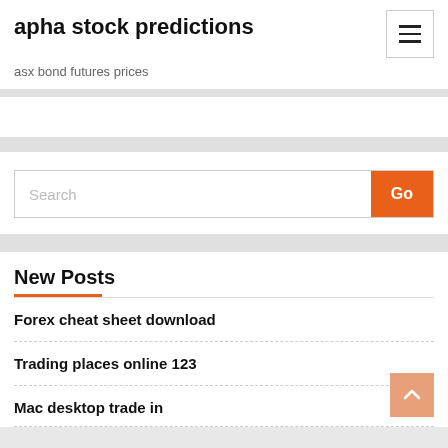apha stock predictions
asx bond futures prices
Search
New Posts
Forex cheat sheet download
Trading places online 123
Mac desktop trade in